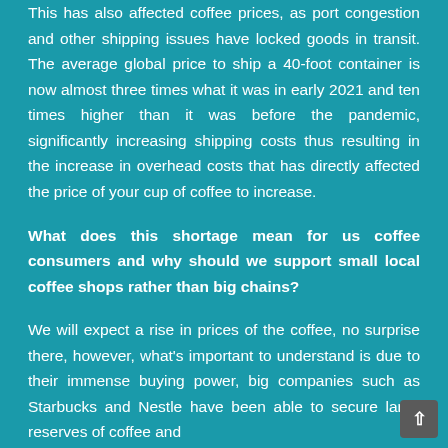This has also affected coffee prices, as port congestion and other shipping issues have locked goods in transit. The average global price to ship a 40-foot container is now almost three times what it was in early 2021 and ten times higher than it was before the pandemic, significantly increasing shipping costs thus resulting in the increase in overhead costs that has directly affected the price of your cup of coffee to increase.
What does this shortage mean for us coffee consumers and why should we support small local coffee shops rather than big chains?
We will expect a rise in prices of the coffee, no surprise there, however, what's important to understand is due to their immense buying power, big companies such as Starbucks and Nestle have been able to secure large reserves of coffee and